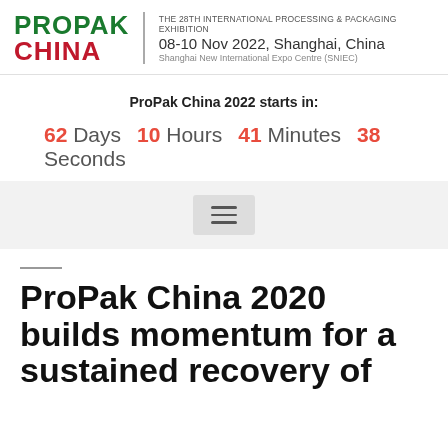PROPAK CHINA | THE 28TH INTERNATIONAL PROCESSING & PACKAGING EXHIBITION 08-10 Nov 2022, Shanghai, China Shanghai New International Expo Centre (SNIEC)
ProPak China 2022 starts in:
62 Days  10 Hours 41 Minutes 38 Seconds
ProPak China 2020 builds momentum for a sustained recovery of